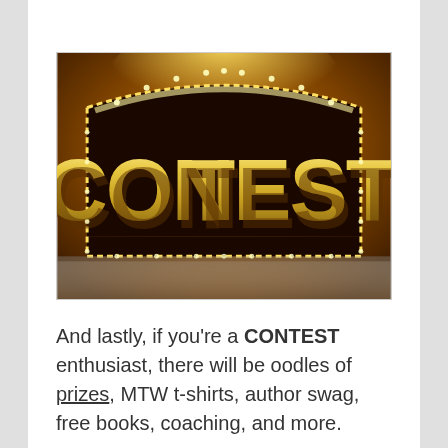[Figure (illustration): A dramatic gold 3D 'CON TEST' sign with a marquee-light border on a dark amber/brown background, with reflections below.]
And lastly, if you're a CONTEST enthusiast, there will be oodles of prizes, MTW t-shirts, author swag, free books, coaching, and more.